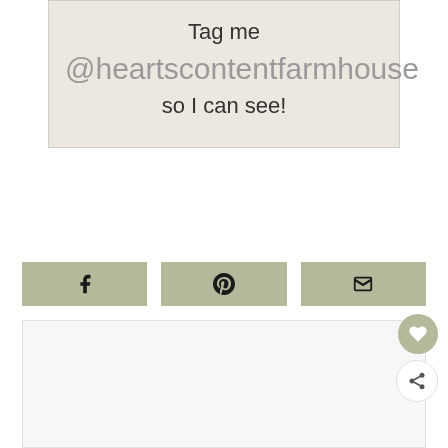Tag me @heartscontentfarmhouse so I can see!
[Figure (infographic): Three social share buttons: Facebook, Pinterest, and Email, styled with olive/sage green background]
[Figure (other): Bottom card area with heart and share floating action buttons]